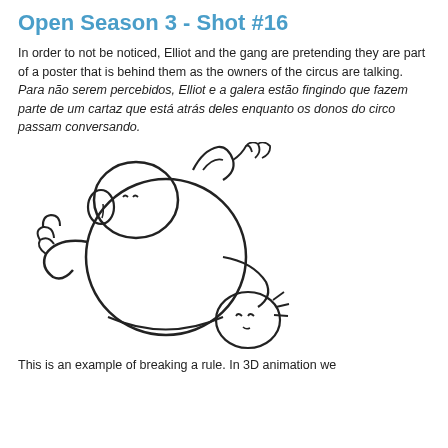Open Season 3 - Shot #16
In order to not be noticed, Elliot and the gang are pretending they are part of a poster that is behind them as the owners of the circus are talking.
Para não serem percebidos, Elliot e a galera estão fingindo que fazem parte de um cartaz que está atrás deles enquanto os donos do circo passam conversando.
[Figure (illustration): Sketch/line drawing of cartoon animal characters from Open Season 3, showing stylized figures stacked or posing together in a poster-like arrangement.]
This is an example of breaking a rule. In 3D animation we